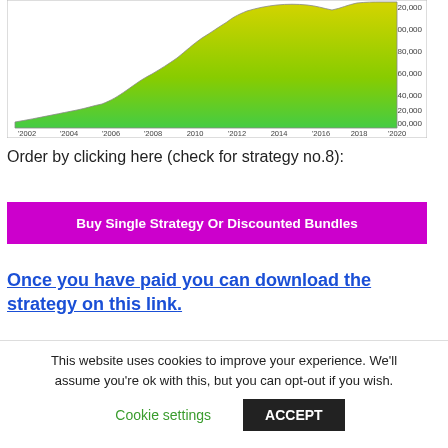[Figure (area-chart): An area chart showing growth from approximately 100,000 to over 220,000 between years 2002 and 2020. The fill is a green-to-yellow gradient. X-axis labels: '2002, '2004, '2006, '2008, 2010, '2012, 2014, '2016, 2018, '2020. Y-axis labels: 100,000 to 220,000+]
Order by clicking here (check for strategy no.8):
Buy Single Strategy Or Discounted Bundles
Once you have paid you can download the strategy on this link.
This website uses cookies to improve your experience. We'll assume you're ok with this, but you can opt-out if you wish.